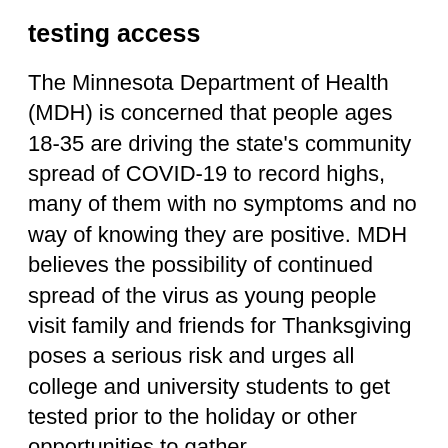testing access
The Minnesota Department of Health (MDH) is concerned that people ages 18-35 are driving the state's community spread of COVID-19 to record highs, many of them with no symptoms and no way of knowing they are positive. MDH believes the possibility of continued spread of the virus as young people visit family and friends for Thanksgiving poses a serious risk and urges all college and university students to get tested prior to the holiday or other opportunities to gather.
To make this possible, Governor Tim Walz and Lieutenant Governor Peggy Flanagan announced a significant expansion in COVID-